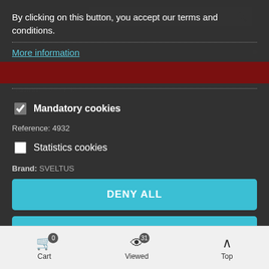[Figure (screenshot): Website background showing Sveltus logo, search bar, red navigation menu bar, and product reference/brand information partially visible behind cookie consent modal]
By clicking on this button, you accept our terms and conditions.
More information
✓ Mandatory cookies
Reference: 4932
Statistics cookies
Brand: SVELTUS
DENY ALL
ACCEPT CURRENT SELECTION
ACCEPT ALL
Cart 0   Viewed 31   Top